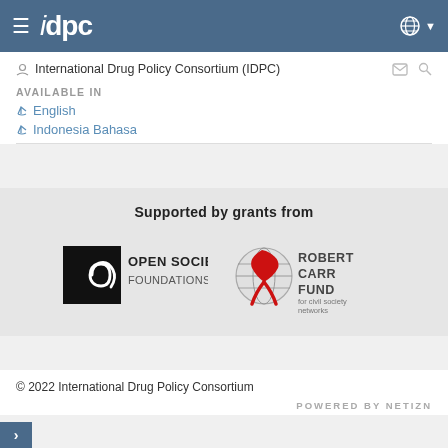idpc
International Drug Policy Consortium (IDPC)
AVAILABLE IN
English
Indonesia Bahasa
Supported by grants from
[Figure (logo): Open Society Foundations logo - black square with white spiral, text OPEN SOCIETY FOUNDATIONS]
[Figure (logo): Robert Carr Fund logo - globe with red ribbon, text ROBERT CARR FUND for civil society networks]
© 2022 International Drug Policy Consortium
POWERED BY NETIZN